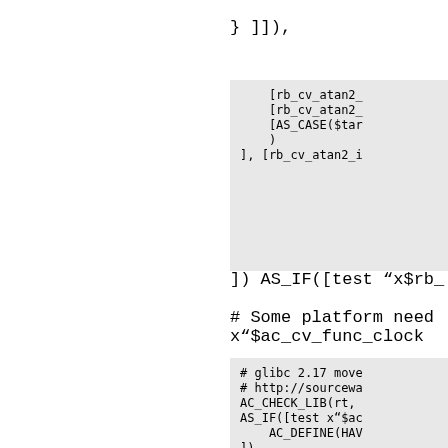} ]]).
[Figure (screenshot): Code block showing [rb_cv_atan2_, [rb_cv_atan2_, [AS_CASE($tar, ), ], [rb_cv_atan2_i]
]) AS_IF([test "x$rb_
# Some platform need x"$ac_cv_func_clock
[Figure (screenshot): Code block showing # glibc 2.17 move, # http://sourcewa, AC_CHECK_LIB(rt,, AS_IF([test x"$ac, AC_DEFINE(HAV, ])]